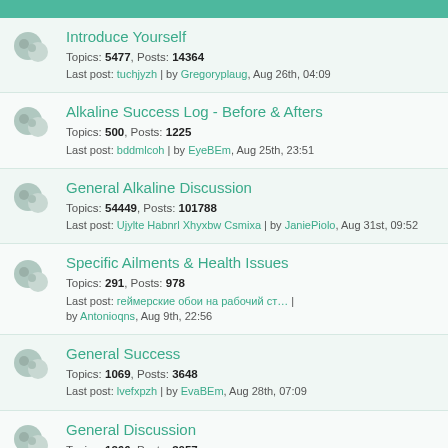FORUM
Introduce Yourself
Topics: 5477, Posts: 14364
Last post: tuchjyzh | by Gregoryplaug, Aug 26th, 04:09
Alkaline Success Log - Before & Afters
Topics: 500, Posts: 1225
Last post: bddmlcoh | by EyeBEm, Aug 25th, 23:51
General Alkaline Discussion
Topics: 54449, Posts: 101788
Last post: Ujylte Habnrl Xhyxbw Csmixa | by JaniePiolo, Aug 31st, 09:52
Specific Ailments & Health Issues
Topics: 291, Posts: 978
Last post: геймерские обои на рабочий ст… | by Antonioqns, Aug 9th, 22:56
General Success
Topics: 1069, Posts: 3648
Last post: lvefxpzh | by EvaBEm, Aug 28th, 07:09
General Discussion
Topics: 1266, Posts: 3057
Last post: ozbrxzej | by KiaBEm, Aug 28th, 12:22